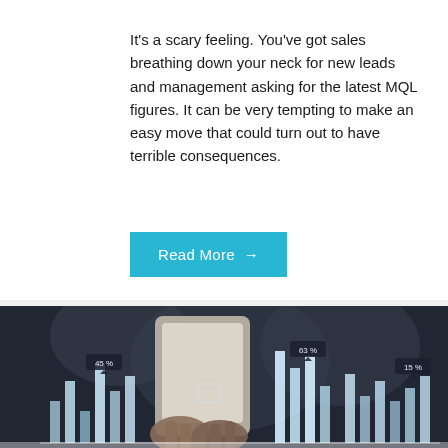It's a scary feeling. You've got sales breathing down your neck for new leads and management asking for the latest MQL figures. It can be very tempting to make an easy move that could turn out to have terrible consequences.
Read More →
[Figure (photo): Dark background photo showing hands holding a smartphone with an overlay of glowing white bar charts and percentage labels (45%, 63%, 15%)]